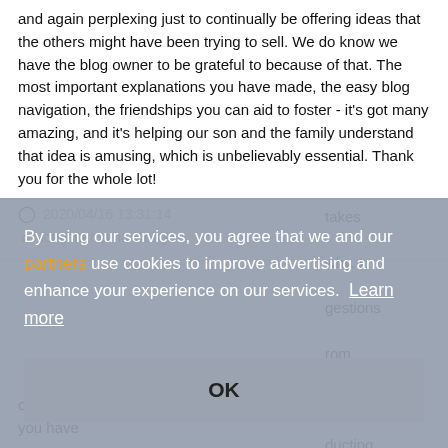and again perplexing just to continually be offering ideas that the others might have been trying to sell. We do know we have the blog owner to be grateful to because of that. The most important explanations you have made, the easy blog navigation, the friendships you can aid to foster - it's got many amazing, and it's helping our son and the family understand that idea is amusing, which is unbelievably essential. Thank you for the whole lot!
2020/04/16 13:31:14
longchamp handbags
...takes ...why. I ...gestions ...rom ...ot of ...ducting
By using our services, you agree that we and our partners use cookies to improve advertising and enhance your experience on our services. Learn more
OK
...much over again relating to the breathtaking thoughts you have